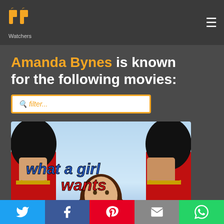PP Watchers
Amanda Bynes is known for the following movies:
filter...
[Figure (photo): Movie poster for 'What a Girl Wants' featuring text 'what a girl wants' with two Royal Guards in red uniforms and black bearskin hats flanking a young woman with brown hair against a blue sky background.]
Social share buttons: Twitter, Facebook, Pinterest, Email, WhatsApp